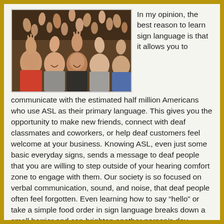[Figure (photo): A large group of young people (students) in a classroom/auditorium raising their hands and smiling enthusiastically at the camera.]
In my opinion, the best reason to learn sign language is that it allows you to communicate with the estimated half million Americans who use ASL as their primary language. This gives you the opportunity to make new friends, connect with deaf classmates and coworkers, or help deaf customers feel welcome at your business. Knowing ASL, even just some basic everyday signs, sends a message to deaf people that you are willing to step outside of your hearing comfort zone to engage with them. Our society is so focused on verbal communication, sound, and noise, that deaf people often feel forgotten. Even learning how to say “hello” or take a simple food order in sign language breaks down a small barrier and can brighten another person’s day.